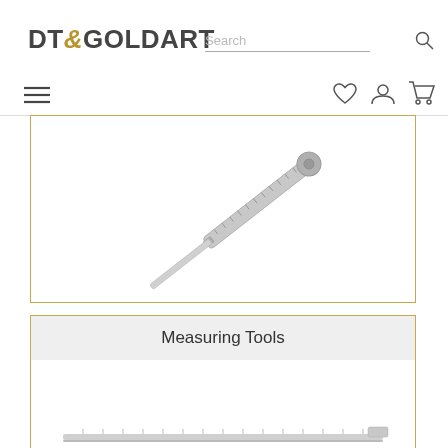DT&GOLDART — website header with logo, search bar, navigation icons
[Figure (photo): Close-up photo of a metal caliper/measuring tool with a ruler scale, on white background, partially cropped]
Measuring Tools
[Figure (photo): Partially visible product photo at the bottom of the page, appears to show another measuring tool, partially cut off]